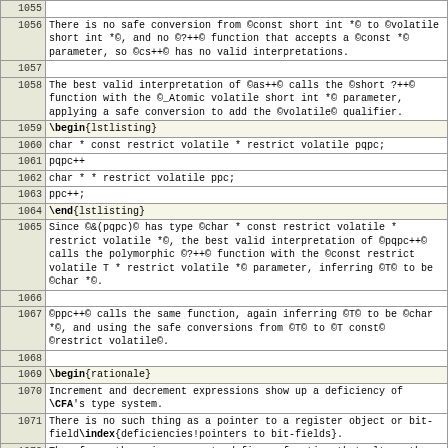| Line | Content |
| --- | --- |
| 1055 |  |
| 1056 | There is no safe conversion from ©const short int *© to ©volatile short int *©, and no ©?++© function that accepts a ©const *© parameter, so ©cs++© has no valid interpretations. |
| 1057 |  |
| 1058 | The best valid interpretation of ©as++© calls the ©short ?++© function with the ©_Atomic volatile short int *© parameter, applying a safe conversion to add the ©volatile© qualifier. |
| 1059 | \begin{lstlisting} |
| 1060 | char * const restrict volatile * restrict volatile pqpc; |
| 1061 | pqpc++ |
| 1062 | char * * restrict volatile ppc; |
| 1063 | ppc++; |
| 1064 | \end{lstlisting} |
| 1065 | Since ©&(pqpc)© has type ©char * const restrict volatile * restrict volatile *©, the best valid interpretation of ©pqpc++© calls the polymorphic ©?++© function with the ©const restrict volatile T * restrict volatile *© parameter, inferring ©T© to be ©char *©. |
| 1066 |  |
| 1067 | ©ppc++© calls the same function, again inferring ©T© to be ©char *©, and using the safe conversions from ©T© to ©T const© ©restrict volatile©. |
| 1068 |  |
| 1069 | \begin{rationale} |
| 1070 | Increment and decrement expressions show up a deficiency of \CFA's type system. |
| 1071 | There is no such thing as a pointer to a register object or bit-field\index{deficiencies!pointers to bit-fields}. |
| 1072 | Therefore, there is no way to define a function that alters them, and hence no way to define increment and decrement functions for them. |
| 1073 | As a result, the semantics of increment and decrement |